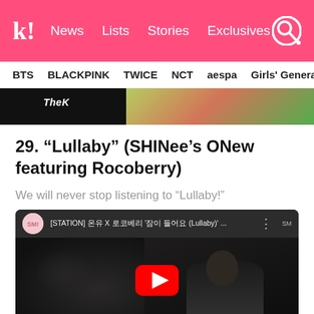k! News  Lists  Stories  Exclusives
BTS  BLACKPINK  TWICE  NCT  aespa  Girls' Generation
[Figure (screenshot): Top portion of a previous article showing 'TheK' label on dark background with colorful image on right]
29. “Lullaby” (SHINee’s ONew featuring Rocoberry)
We will never stop listening to “Lullaby!”
[Figure (screenshot): YouTube embed showing [STATION] video by SM Entertainment with Korean text and a person visible in thumbnail, with red YouTube play button overlay]